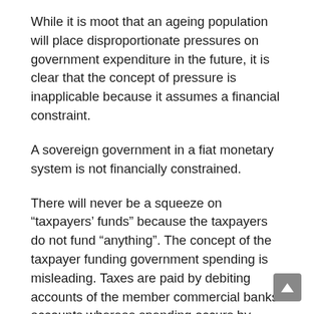While it is moot that an ageing population will place disproportionate pressures on government expenditure in the future, it is clear that the concept of pressure is inapplicable because it assumes a financial constraint.
A sovereign government in a fiat monetary system is not financially constrained.
There will never be a squeeze on “taxpayers’ funds” because the taxpayers do not fund “anything”. The concept of the taxpayer funding government spending is misleading. Taxes are paid by debiting accounts of the member commercial banks accounts whereas spending occurs by crediting the same. The notion that “debited funds” have some further use is not applicable.
When taxes are levied the revenue does not go anywhere. The flow of funds is accounted for, but accounting for a surplus that is merely a discretionary net contraction of private liquidity by government does not change the capacity